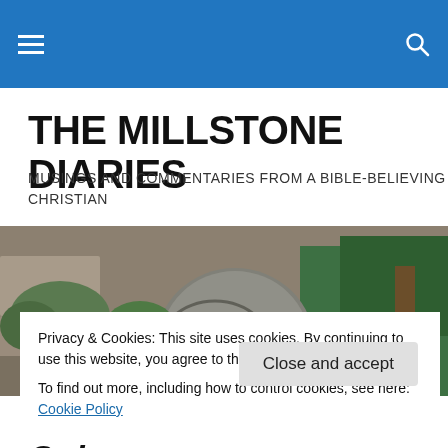THE MILLSTONE DIARIES
THE MILLSTONE DIARIES
MUSINGS AND COMMENTARIES FROM A BIBLE-BELIEVING CHRISTIAN
[Figure (photo): Outdoor photo of ancient stone millstones in a garden setting with rocks and vegetation]
Privacy & Cookies: This site uses cookies. By continuing to use this website, you agree to their use.
To find out more, including how to control cookies, see here: Cookie Policy
Close and accept
Taking My Ball and Going